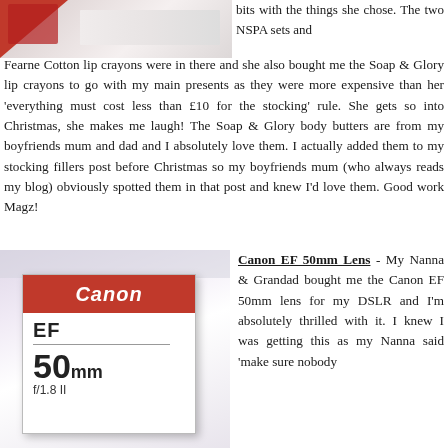[Figure (photo): Partial photo of gift items with red packaging, cropped at top-left]
bits with the things she chose. The two NSPA sets and Fearne Cotton lip crayons were in there and she also bought me the Soap & Glory lip crayons to go with my main presents as they were more expensive than her 'everything must cost less than £10 for the stocking' rule. She gets so into Christmas, she makes me laugh! The Soap & Glory body butters are from my boyfriends mum and dad and I absolutely love them. I actually added them to my stocking fillers post before Christmas so my boyfriends mum (who always reads my blog) obviously spotted them in that post and knew I'd love them. Good work Magz!
[Figure (photo): Canon EF 50mm f/1.8 II lens box sitting on a surface with colourful blurred background]
Canon EF 50mm Lens - My Nanna & Grandad bought me the Canon EF 50mm lens for my DSLR and I'm absolutely thrilled with it. I knew I was getting this as my Nanna said 'make sure nobody